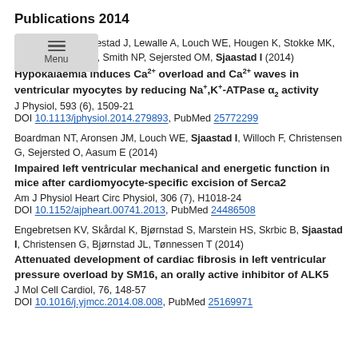Publications 2014
[Figure (other): Navigation menu overlay with hamburger icon and 'Menu' label]
Aronsen JM, Skogestad J, Lewalle A, Louch WE, Hougen K, Stokke MK, Swift F, Niederer S, Smith NP, Sejersted OM, Sjaastad I (2014)
Hypokalaemia induces Ca²⁺ overload and Ca²⁺ waves in ventricular myocytes by reducing Na⁺,K⁺-ATPase α₂ activity
J Physiol, 593 (6), 1509-21
DOI 10.1113/jphysiol.2014.279893, PubMed 25772299
Boardman NT, Aronsen JM, Louch WE, Sjaastad I, Willoch F, Christensen G, Sejersted O, Aasum E (2014)
Impaired left ventricular mechanical and energetic function in mice after cardiomyocyte-specific excision of Serca2
Am J Physiol Heart Circ Physiol, 306 (7), H1018-24
DOI 10.1152/ajpheart.00741.2013, PubMed 24486508
Engebretsen KV, Skårdal K, Bjørnstad S, Marstein HS, Skrbic B, Sjaastad I, Christensen G, Bjørnstad JL, Tønnessen T (2014)
Attenuated development of cardiac fibrosis in left ventricular pressure overload by SM16, an orally active inhibitor of ALK5
J Mol Cell Cardiol, 76, 148-57
DOI 10.1016/j.yjmcc.2014.08.008, PubMed 25169971